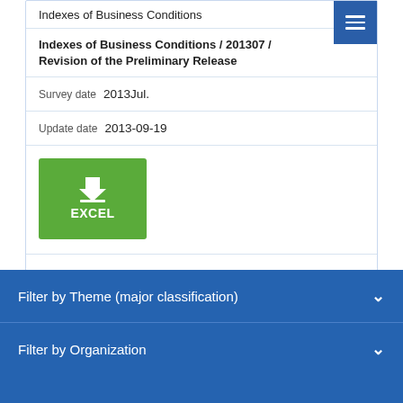Indexes of Business Conditions
Indexes of Business Conditions / 201307 / Revision of the Preliminary Release
Survey date  2013Jul.
Update date  2013-09-19
[Figure (other): Green EXCEL download button with download arrow icon]
Contributions(Lagging Index)
Filter by Theme (major classification)
Filter by Organization